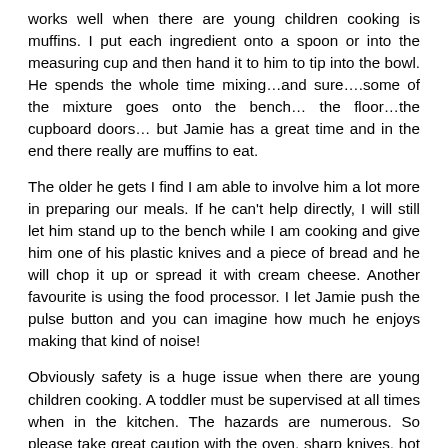works well when there are young children cooking is muffins. I put each ingredient onto a spoon or into the measuring cup and then hand it to him to tip into the bowl. He spends the whole time mixing...and sure....some of the mixture goes onto the bench... the floor...the cupboard doors... but Jamie has a great time and in the end there really are muffins to eat.
The older he gets I find I am able to involve him a lot more in preparing our meals. If he can't help directly, I will still let him stand up to the bench while I am cooking and give him one of his plastic knives and a piece of bread and he will chop it up or spread it with cream cheese. Another favourite is using the food processor. I let Jamie push the pulse button and you can imagine how much he enjoys making that kind of noise!
Obviously safety is a huge issue when there are young children cooking. A toddler must be supervised at all times when in the kitchen. The hazards are numerous. So please take great caution with the oven, sharp knives, hot water and